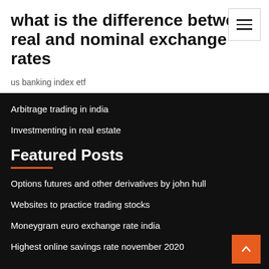what is the difference between real and nominal exchange rates
us banking index etf
Arbitrage trading in india
Investmenting in real estate
Featured Posts
Options futures and other derivatives by john hull
Websites to practice trading stocks
Moneygram euro exchange rate india
Highest online savings rate november 2020